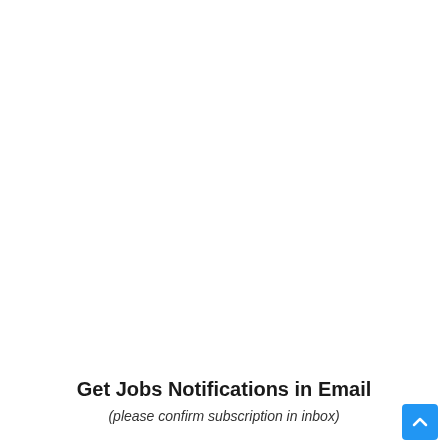[Figure (infographic): Dark banner advertisement with 'CLICK HERE' button on left, Urdu text in center reading about government jobs notification via WhatsApp, large green number 10 on right, small URL at bottom center.]
Get Jobs Notifications in Email
(please confirm subscription in inbox)